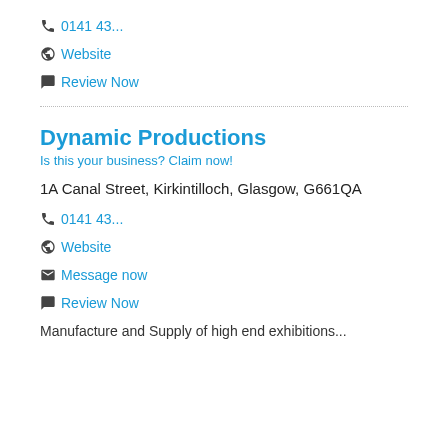0141 43...
Website
Review Now
Dynamic Productions
Is this your business? Claim now!
1A Canal Street, Kirkintilloch, Glasgow, G661QA
0141 43...
Website
Message now
Review Now
Manufacture and Supply of high end exhibitions...